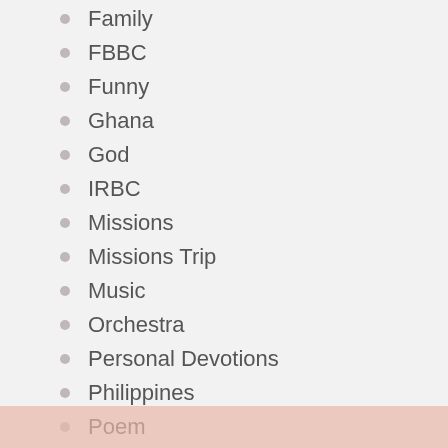Family
FBBC
Funny
Ghana
God
IRBC
Missions
Missions Trip
Music
Orchestra
Personal Devotions
Philippines
Poem
Ramblings
Religion
Review
Salvation
School